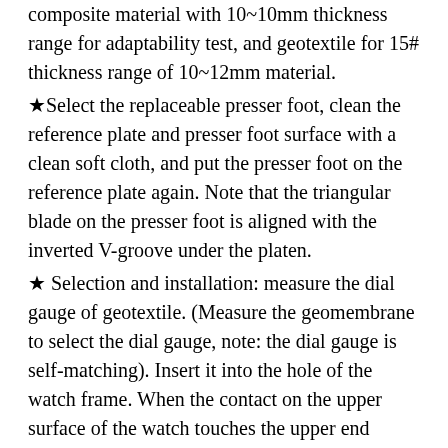composite material with 10~10mm thickness range for adaptability test, and geotextile for 15# thickness range of 10~12mm material.
★Select the replaceable presser foot, clean the reference plate and presser foot surface with a clean soft cloth, and put the presser foot on the reference plate again. Note that the triangular blade on the presser foot is aligned with the inverted V-groove under the platen.
★ Selection and installation: measure the dial gauge of geotextile. (Measure the geomembrane to select the dial gauge, note: the dial gauge is self-matching). Insert it into the hole of the watch frame. When the contact on the upper surface of the watch touches the upper end surface of the pressable presser foot, move it slightly downward by 0.1~0.2mm and screw the nut. Then clear its table (or zero).
★ Gently lift the replaceable presser foot and insert the